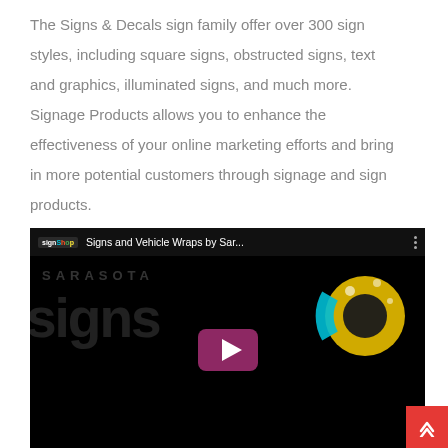The Signs & Decals sign family offer over 300 sign styles, including square signs, obstructed signs, text and graphics, illuminated signs, and much more. Signage Products allows you to enhance the effectiveness of your online marketing efforts and bring in more potential customers through signage and sign products.
[Figure (screenshot): YouTube video embed showing 'Signs and Vehicle Wraps by Sar...' with Sarasota Sign Stop branding on a dark background, with a play button in the center.]